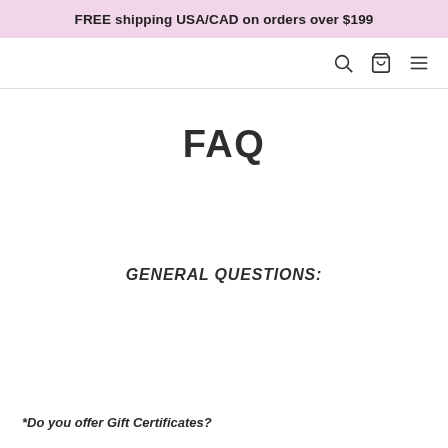FREE shipping USA/CAD on orders over $199
FAQ
GENERAL QUESTIONS:
*Do you offer Gift Certificates?